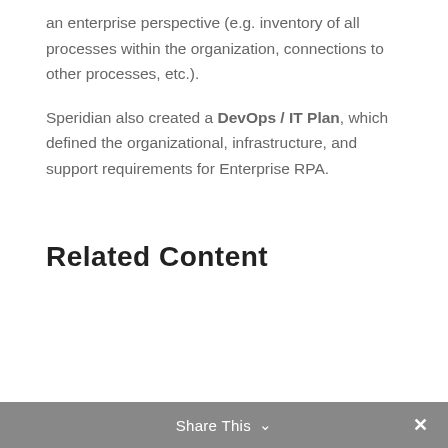an enterprise perspective (e.g. inventory of all processes within the organization, connections to other processes, etc.).
Speridian also created a DevOps / IT Plan, which defined the organizational, infrastructure, and support requirements for Enterprise RPA.
Related Content
Share This ∨  ✕